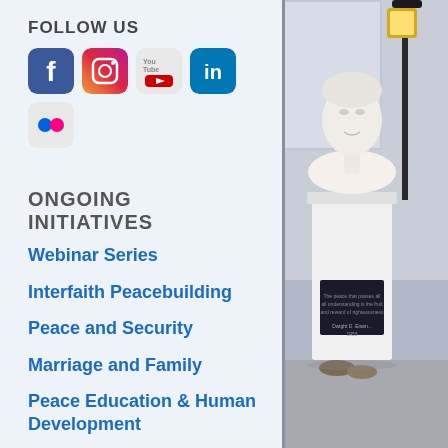FOLLOW US
[Figure (infographic): Social media icons: Facebook, Instagram, YouTube, LinkedIn, Flickr]
ONGOING INITIATIVES
Webinar Series
Interfaith Peacebuilding
Peace and Security
Marriage and Family
Peace Education & Human Development
Humanitarian and Youth Programs
Northeast Asia Peace Initiative
[Figure (photo): White marble bust of a person on a pedestal, with shoes at the base, photographed indoors near a lamp post]